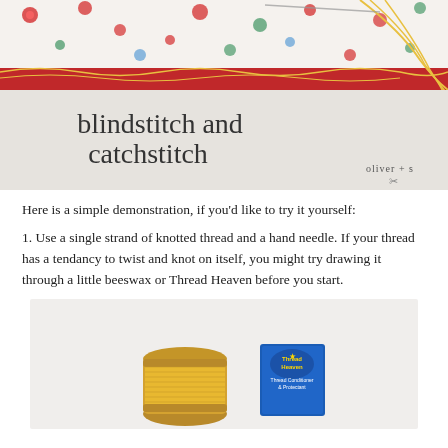[Figure (photo): Header photo showing blindstitch and catchstitch sewing tutorial with fabric, needle, thread, and 'oliver + s' branding. Large text reads 'blindstitch and catchstitch'.]
Here is a simple demonstration, if you'd like to try it yourself:
1. Use a single strand of knotted thread and a hand needle. If your thread has a tendancy to twist and knot on itself, you might try drawing it through a little beeswax or Thread Heaven before you start.
[Figure (photo): Photo of a spool of golden/yellow thread next to a small blue box of Thread Heaven Thread Conditioner & Protectant on a white surface.]